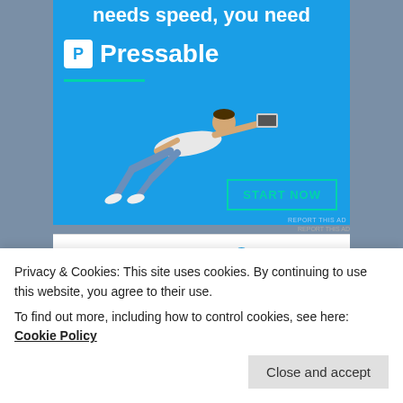[Figure (photo): Pressable web hosting advertisement banner with blue background, showing a person flying horizontally holding a laptop, logo 'P Pressable', green underline, and a 'START NOW' button]
RATE THIS: ★★★★☆ ⓘ 3 Votes
SHARE THIS:
Privacy & Cookies: This site uses cookies. By continuing to use this website, you agree to their use.
To find out more, including how to control cookies, see here: Cookie Policy
Close and accept